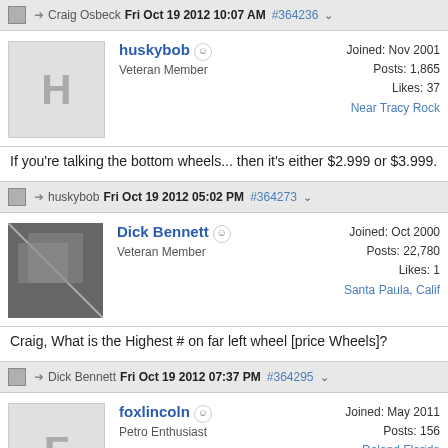Craig Osbeck  Fri Oct 19 2012 10:07 AM  #364236
huskybob  Veteran Member  Joined: Nov 2001  Posts: 1,865  Likes: 37  Near Tracy Rock
If you're talking the bottom wheels... then it's either $2.999 or $3.999.
huskybob  Fri Oct 19 2012 05:02 PM  #364273
Dick Bennett  Veteran Member  Joined: Oct 2000  Posts: 22,780  Likes: 1  Santa Paula, Calif
Craig, What is the Highest # on far left wheel [price Wheels]?
Dick Bennett  Fri Oct 19 2012 07:37 PM  #364295
foxlincoln  Petro Enthusiast  Joined: May 2011  Posts: 156  Deland Florida